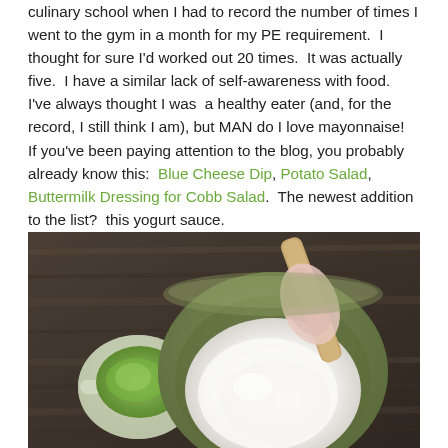culinary school when I had to record the number of times I went to the gym in a month for my PE requirement. I thought for sure I'd worked out 20 times. It was actually five. I have a similar lack of self-awareness with food. I've always thought I was a healthy eater (and, for the record, I still think I am), but MAN do I love mayonnaise!  If you've been paying attention to the blog, you probably already know this: Blue Cheese Dip, Potato Salad, Buttermilk Dressing for Cobb Salad. The newest addition to the list? this yogurt sauce.
[Figure (photo): Overhead photo of a green ceramic bowl containing white yogurt sauce with a wooden-handled spoon resting in it, alongside a small measuring cup with green herb sauce, both resting on a rustic wooden surface.]